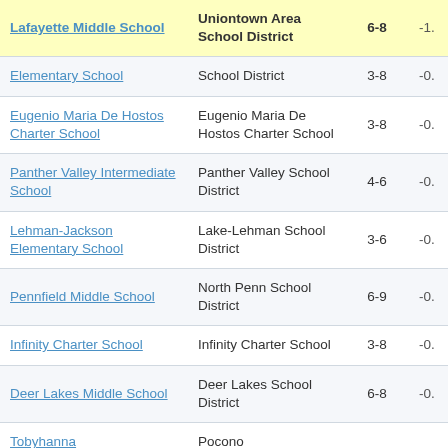| School | District | Grades | Score |
| --- | --- | --- | --- |
| Lafayette Middle School | Uniontown Area School District | 6-8 | -1. |
| Elementary School | School District | 3-8 | -0. |
| Eugenio Maria De Hostos Charter School | Eugenio Maria De Hostos Charter School | 3-8 | -0. |
| Panther Valley Intermediate School | Panther Valley School District | 4-6 | -0. |
| Lehman-Jackson Elementary School | Lake-Lehman School District | 3-6 | -0. |
| Pennfield Middle School | North Penn School District | 6-9 | -0. |
| Infinity Charter School | Infinity Charter School | 3-8 | -0. |
| Deer Lakes Middle School | Deer Lakes School District | 6-8 | -0. |
| Tobyhanna | Pocono |  |  |